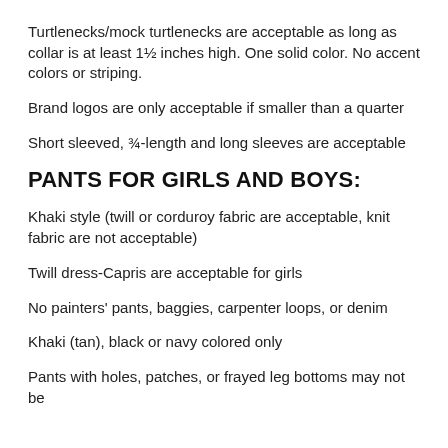Turtlenecks/mock turtlenecks are acceptable as long as collar is at least 1½ inches high. One solid color. No accent colors or striping.
Brand logos are only acceptable if smaller than a quarter
Short sleeved, ¾-length and long sleeves are acceptable
PANTS FOR GIRLS AND BOYS:
Khaki style (twill or corduroy fabric are acceptable, knit fabric are not acceptable)
Twill dress-Capris are acceptable for girls
No painters' pants, baggies, carpenter loops, or denim
Khaki (tan), black or navy colored only
Pants with holes, patches, or frayed leg bottoms may not be